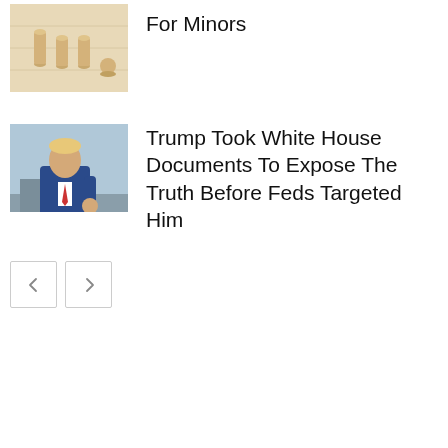[Figure (photo): Wooden pegs or pins arranged on a light wooden surface, top-down view]
For Minors
[Figure (photo): A man in a blue suit gesturing outdoors, appears to be Donald Trump]
Trump Took White House Documents To Expose The Truth Before Feds Targeted Him
[Figure (other): Navigation buttons: left arrow and right arrow]